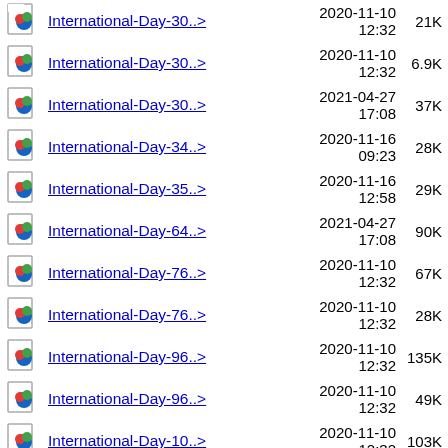International-Day-30..> 2020-11-10 12:32 21K
International-Day-30..> 2020-11-10 12:32 6.9K
International-Day-30..> 2021-04-27 17:08 37K
International-Day-34..> 2020-11-16 09:23 28K
International-Day-35..> 2020-11-16 12:58 29K
International-Day-64..> 2021-04-27 17:08 90K
International-Day-76..> 2020-11-10 12:32 67K
International-Day-76..> 2020-11-10 12:32 28K
International-Day-96..> 2020-11-10 12:32 135K
International-Day-96..> 2020-11-10 12:32 49K
International-Day-10..> 2020-11-10 12:32 103K
International-Day-10..> 2020-11-10 43K